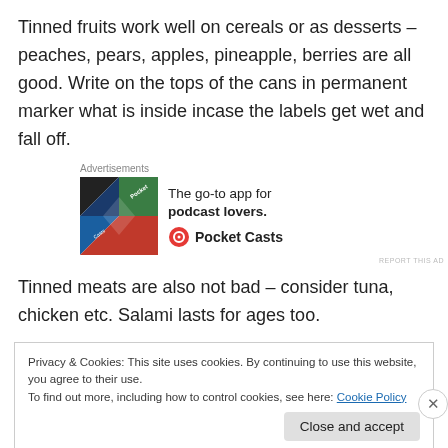Tinned fruits work well on cereals or as desserts – peaches, pears, apples, pineapple, berries are all good. Write on the tops of the cans in permanent marker what is inside incase the labels get wet and fall off.
[Figure (other): Advertisement for Pocket Casts podcast app showing colorful diamond graphic and tagline 'The go-to app for podcast lovers.' with Pocket Casts logo]
Tinned meats are also not bad – consider tuna, chicken etc. Salami lasts for ages too.
Privacy & Cookies: This site uses cookies. By continuing to use this website, you agree to their use. To find out more, including how to control cookies, see here: Cookie Policy